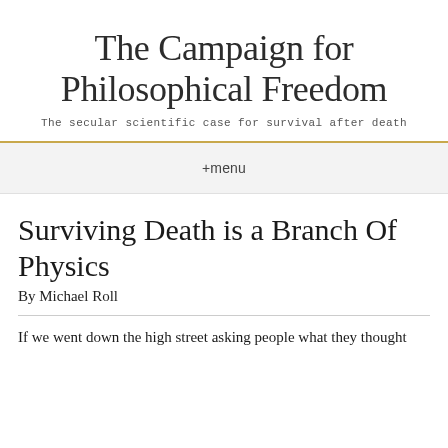The Campaign for Philosophical Freedom
The secular scientific case for survival after death
+menu
Surviving Death is a Branch Of Physics
By Michael Roll
If we went down the high street asking people what they thought